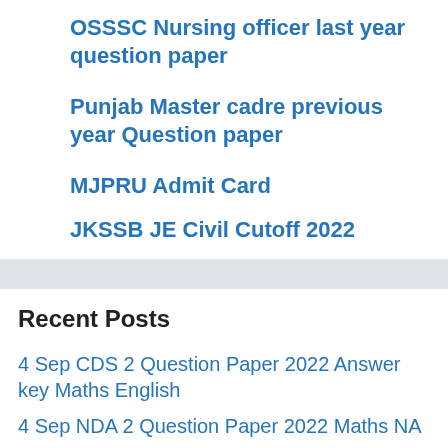OSSSC Nursing officer last year question paper
Punjab Master cadre previous year Question paper
MJPRU Admit Card
JKSSB JE Civil Cutoff 2022
Recent Posts
4 Sep CDS 2 Question Paper 2022 Answer key Maths English
4 Sep NDA 2 Question Paper 2022 Maths NA